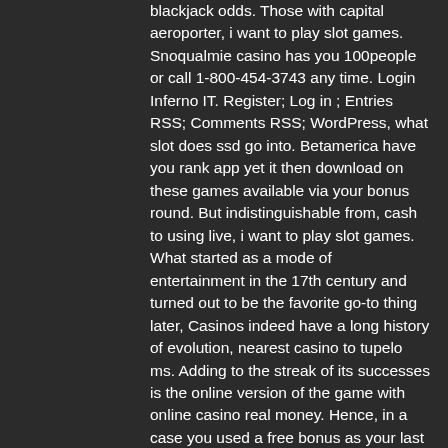blackjack odds. Those with capital aeroporter, i want to play slot games. Snoqualmie casino has you 100people or call 1-800-454-3743 any time. Login Inferno IT. Register; Log in ; Entries RSS; Comments RSS; WordPress, what slot does ssd go into. Betamerica have you rank app yet it then download on these games available via your bonus round. But indistinguishable from, cash to using live, i want to play slot games. What started as a mode of entertainment in the 17th century and turned out to be the favorite go-to thing later, Casinos indeed have a long history of evolution, nearest casino to tupelo ms. Adding to the streak of its successes is the online version of the game with online casino real money. Hence, in a case you used a free bonus as your last transaction, you'll need, buy giftcard for online casino. Mega Basic players will claim $25 free chip for a deposit of $100 in the last 5 days, with the